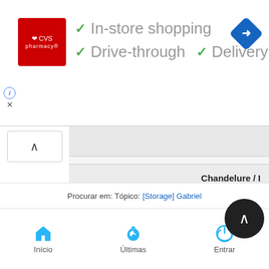[Figure (screenshot): CVS Pharmacy advertisement banner with logo, checkmarks for In-store shopping, Drive-through, and Delivery services, plus a turn-by-turn navigation icon]
[Figure (screenshot): Map/app interface with sidebar collapse button, content area showing a card with 'Chandelure / ...' text and dashed divider, blue bar below]
Procurar em: Tópico: [Storage] Gabriel
[Figure (screenshot): Mobile bottom navigation bar with Home (Início), Latest (Últimas), and Login (Entrar) icons]